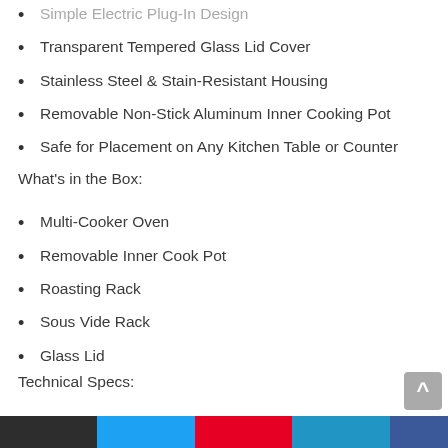Simple Electric Plug-In Design
Transparent Tempered Glass Lid Cover
Stainless Steel & Stain-Resistant Housing
Removable Non-Stick Aluminum Inner Cooking Pot
Safe for Placement on Any Kitchen Table or Counter
What's in the Box:
Multi-Cooker Oven
Removable Inner Cook Pot
Roasting Rack
Sous Vide Rack
Glass Lid
Technical Specs:
High-Powered Heating Element: 1500 Watt